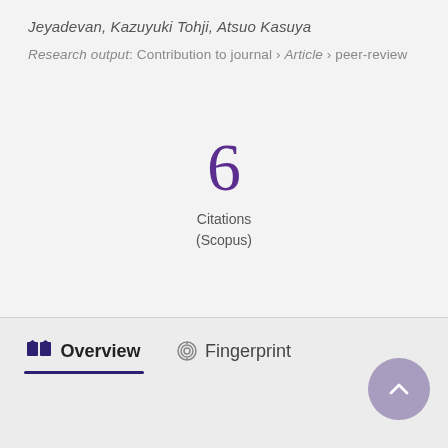Jeyadevan, Kazuyuki Tohji, Atsuo Kasuya
Research output: Contribution to journal › Article › peer-review
6
Citations
(Scopus)
Overview
Fingerprint